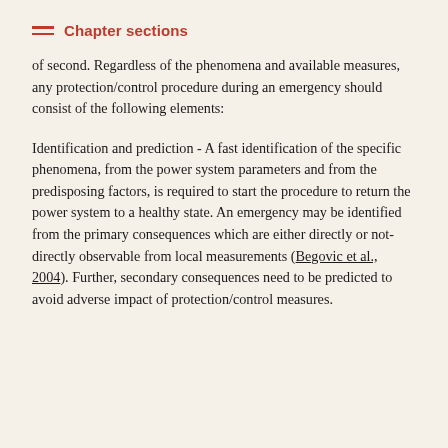Chapter sections
of second. Regardless of the phenomena and available measures, any protection/control procedure during an emergency should consist of the following elements:
Identification and prediction - A fast identification of the specific phenomena, from the power system parameters and from the predisposing factors, is required to start the procedure to return the power system to a healthy state. An emergency may be identified from the primary consequences which are either directly or not-directly observable from local measurements (Begovic et al., 2004). Further, secondary consequences need to be predicted to avoid adverse impact of protection/control measures.